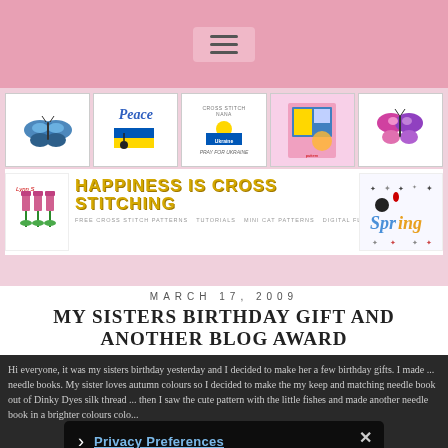Hamburger menu icon
[Figure (screenshot): Banner area showing cross stitch thumbnails and Happiness Is Cross Stitching blog header with navigation links]
MARCH 17, 2009
MY SISTERS BIRTHDAY GIFT AND ANOTHER BLOG AWARD
Hi everyone, it was my sisters birthday yesterday and I decided to make her a few birthday gifts. I made ... needle books. My sister loves autumn colours so I decided to make her my keep and matching needle book out of Dinky Dyes silk thread ... then I saw the cute pattern with the little fishes and made another needle book in a brighter colours colour...
Privacy Preferences | I Agree